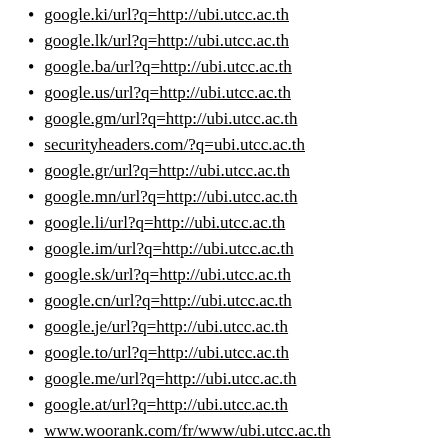google.ki/url?q=http://ubi.utcc.ac.th
google.lk/url?q=http://ubi.utcc.ac.th
google.ba/url?q=http://ubi.utcc.ac.th
google.us/url?q=http://ubi.utcc.ac.th
google.gm/url?q=http://ubi.utcc.ac.th
securityheaders.com/?q=ubi.utcc.ac.th
google.gr/url?q=http://ubi.utcc.ac.th
google.mn/url?q=http://ubi.utcc.ac.th
google.li/url?q=http://ubi.utcc.ac.th
google.im/url?q=http://ubi.utcc.ac.th
google.sk/url?q=http://ubi.utcc.ac.th
google.cn/url?q=http://ubi.utcc.ac.th
google.je/url?q=http://ubi.utcc.ac.th
google.to/url?q=http://ubi.utcc.ac.th
google.me/url?q=http://ubi.utcc.ac.th
google.at/url?q=http://ubi.utcc.ac.th
www.woorank.com/fr/www/ubi.utcc.ac.th
miamibeach411.com/?URL=ubi.utcc.ac.th
maxilingvo.kz/go?url=/ubi.utcc.ac.th